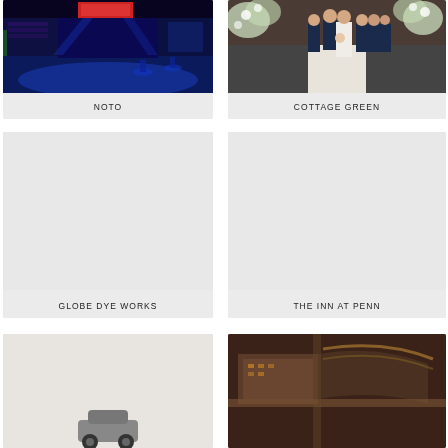[Figure (photo): Interior of NOTO venue with blue lighting, bar stools, and stage area]
NOTO
[Figure (photo): Wedding ceremony at Cottage Green with bride and groom and wedding party, white aisle runner, floral arrangements]
COTTAGE GREEN
[Figure (photo): Globe Dye Works venue placeholder image (light gray)]
GLOBE DYE WORKS
[Figure (photo): The Inn at Penn venue placeholder image (light gray)]
THE INN AT PENN
[Figure (photo): Partial view of venue with small icon/logo visible at bottom]
[Figure (photo): Aerial/overhead view of a venue complex at dusk or night]